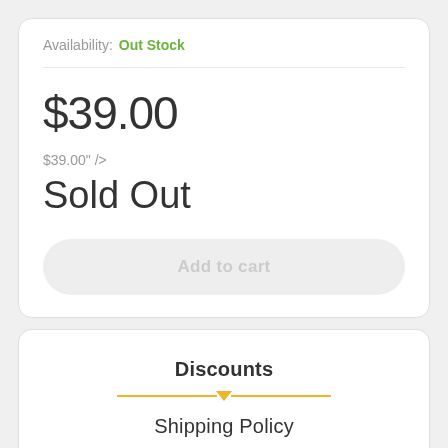Availability: Out Stock
$39.00
$39.00" />
Sold Out
Add to cart
Discounts
Shipping Policy